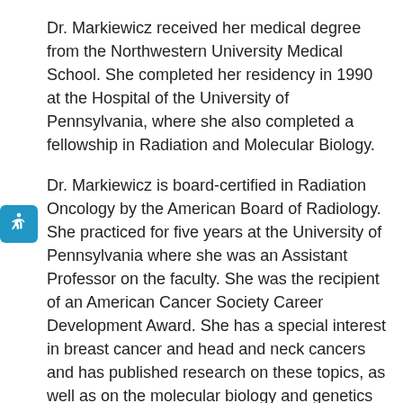Dr. Markiewicz received her medical degree from the Northwestern University Medical School. She completed her residency in 1990 at the Hospital of the University of Pennsylvania, where she also completed a fellowship in Radiation and Molecular Biology.
Dr. Markiewicz is board-certified in Radiation Oncology by the American Board of Radiology. She practiced for five years at the University of Pennsylvania where she was an Assistant Professor on the faculty. She was the recipient of an American Cancer Society Career Development Award. She has a special interest in breast cancer and head and neck cancers and has published research on these topics, as well as on the molecular biology and genetics of cancer.